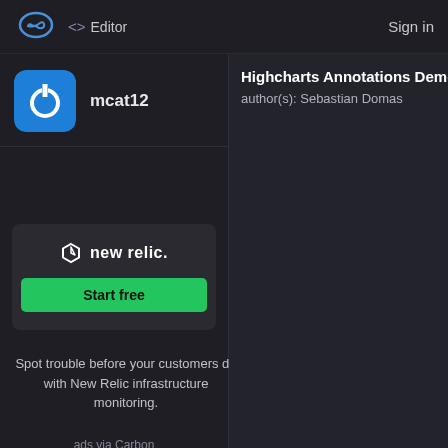<> Editor   Sign in
[Figure (logo): Cloud with infinity symbol logo (blue outline) for online code editor, top-left nav]
mcat12
[Figure (logo): New Relic advertisement box with hexagon logo, brand name 'new relic.' and 'Start free' green button]
Spot trouble before your customers do with New Relic infrastructure monitoring.
ads via Carbon
Highcharts Annotations Demo
author(s): Sebastian Domas